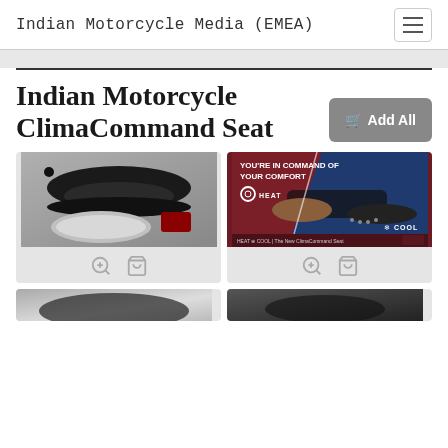Indian Motorcycle Media (EMEA)
Indian Motorcycle ClimaCommand Seat
[Figure (photo): Black motorcycle seat on a motorcycle with chrome and red accents]
[Figure (photo): Advertisement image: YOU'RE IN COMMAND OF YOUR COMFORT with HEAT and COOL labels on red and blue diagonal background showing ClimaCommand seat]
[Figure (photo): Partial bottom-left motorcycle seat photo]
[Figure (photo): Partial bottom-right motorcycle seat photo]